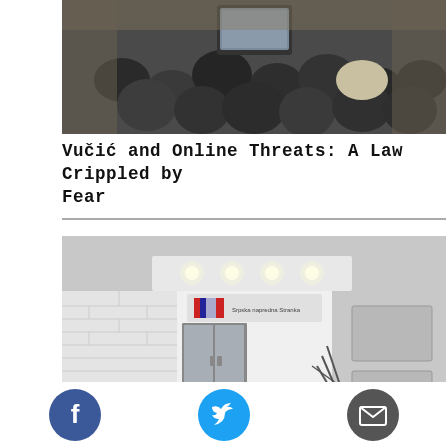[Figure (photo): People sitting in a conference/courtroom setting viewed from behind, with a screen/monitor visible at the front]
Vučić and Online Threats: A Law Crippled by Fear
[Figure (photo): Interior hallway/entrance of an office with white brick walls, recessed ceiling lights, glass double doors with a political party sign (Srpska Napredna Stranka) above, and staircase railing visible]
[Figure (illustration): Social media share icons: Facebook (blue circle), Twitter (cyan circle), Email/envelope (dark grey circle)]